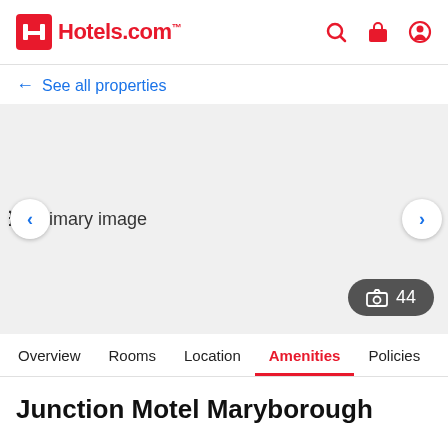Hotels.com
← See all properties
[Figure (photo): Primary image placeholder for hotel photo gallery with left/right navigation arrows and a photo count button showing 44 photos]
Overview  Rooms  Location  Amenities  Policies  Reviews
Junction Motel Maryborough